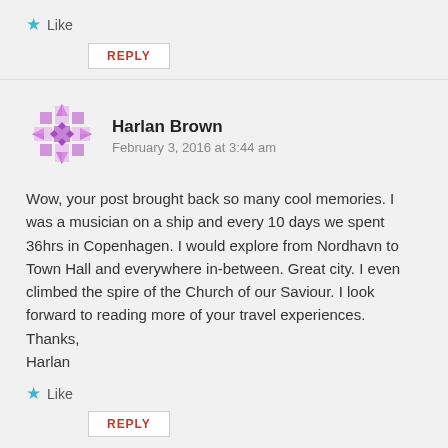Like
REPLY
Harlan Brown
February 3, 2016 at 3:44 am
Wow, your post brought back so many cool memories. I was a musician on a ship and every 10 days we spent 36hrs in Copenhagen. I would explore from Nordhavn to Town Hall and everywhere in-between. Great city. I even climbed the spire of the Church of our Saviour. I look forward to reading more of your travel experiences.
Thanks,
Harlan
Like
REPLY